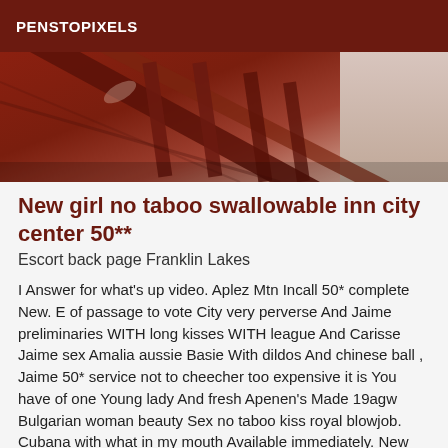PENSTOPIXELS
[Figure (photo): Partial view of wooden staircase railing with dark reddish-brown wood, close-up angle showing banister posts and handrail.]
New girl no taboo swallowable inn city center 50**
Escort back page Franklin Lakes
I Answer for what's up video. Aplez Mtn Incall 50* complete New. E of passage to vote City very perverse And Jaime preliminaries WITH long kisses WITH league And Carisse Jaime sex Amalia aussie Basie With dildos And chinese ball , Jaime 50* service not to cheecher too expensive it is You have of one Young lady And fresh Apenen's Made 19agw Bulgarian woman beauty Sex no taboo kiss royal blowjob. Cubana with what in my mouth Available immediately. New girl no taboo AValiable inn Ville center 50**